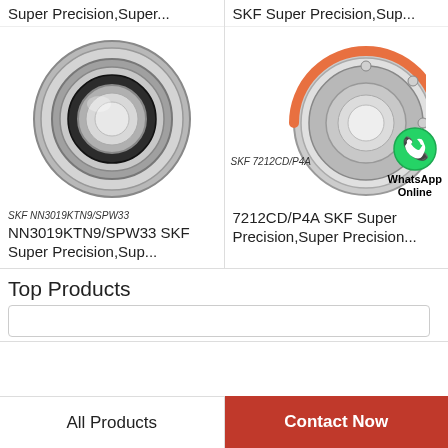Super Precision,Super...
SKF Super Precision,Sup...
[Figure (photo): SKF NN3019KTN9/SPW33 cylindrical roller bearing, metallic, circular, viewed from the front]
[Figure (photo): SKF 7212CD/P4A angular contact ball bearings, two rings shown, with WhatsApp Online green badge overlay]
SKF NN3019KTN9/SPW33
SKF 7212CD/P4A
WhatsApp Online
NN3019KTN9/SPW33 SKF Super Precision,Sup...
7212CD/P4A SKF Super Precision,Super Precision...
Top Products
All Products
Contact Now